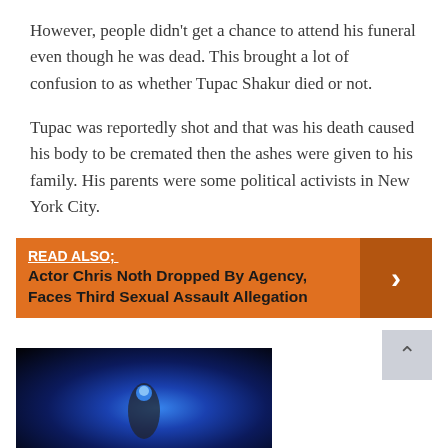However, people didn't get a chance to attend his funeral even though he was dead. This brought a lot of confusion to as whether Tupac Shakur died or not.
Tupac was reportedly shot and that was his death caused his body to be cremated then the ashes were given to his family. His parents were some political activists in New York City.
READ ALSO;  Actor Chris Noth Dropped By Agency, Faces Third Sexual Assault Allegation
[Figure (photo): Dark photo with blue light/smoke, appears to be a hand holding something glowing blue]